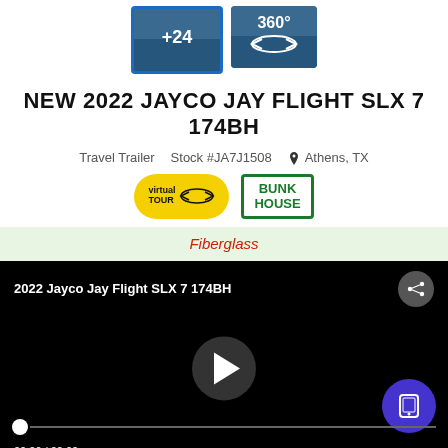[Figure (screenshot): Two thumbnail images: one with +24 overlay (selected with blue border), one with 360° icon]
NEW 2022 JAYCO JAY FLIGHT SLX 7 174BH
Travel Trailer   Stock #JA7J1508   Athens, TX
[Figure (logo): Virtual Tour badge (yellow oval) and Bunk House badge (green border rectangle)]
Fiberglass
[Figure (screenshot): Video player showing 2022 Jayco Jay Flight SLX 7 174BH with play button, progress bar at 00:00 / 00:00, share icon top right, mobile icon bottom right]